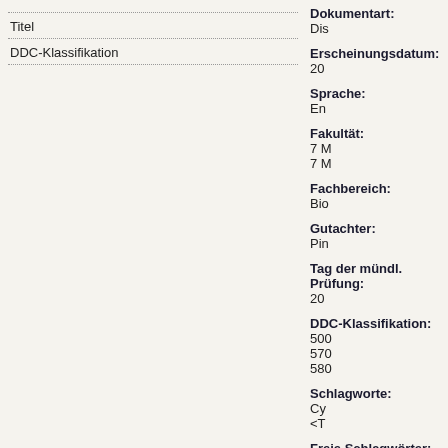Titel
DDC-Klassifikation
| Feld | Wert |
| --- | --- |
| Dokumentart: | Dis |
| Erscheinungsdatum: | 20 |
| Sprache: | En |
| Fakultät: | 7 M
7 M |
| Fachbereich: | Bio |
| Gutachter: | Pin |
| Tag der mündl. Prüfung: | 20 |
| DDC-Klassifikation: | 500
570
580 |
| Schlagworte: | Cy
<T |
| Freie Schlagwörter: | Va |
| Lizenz: | Ve |
Zur Langanzeige
Abstract: